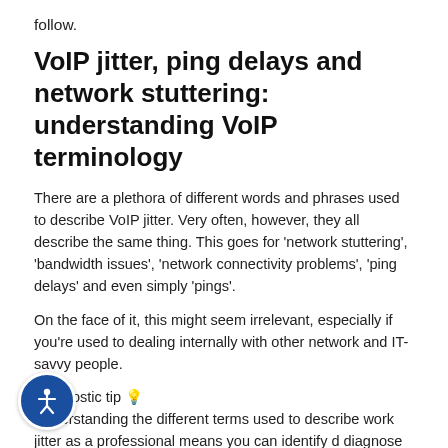follow.
VoIP jitter, ping delays and network stuttering: understanding VoIP terminology
There are a plethora of different words and phrases used to describe VoIP jitter. Very often, however, they all describe the same thing. This goes for ‘network stuttering’, ‘bandwidth issues’, ‘network connectivity problems’, ‘ping delays’ and even simply ‘pings’.
On the face of it, this might seem irrelevant, especially if you’re used to dealing internally with other network and IT-savvy people.
Diagnostic tip 💡
Understanding the different terms used to describe network jitter as a professional means you can identify and diagnose network problems in a flash, and